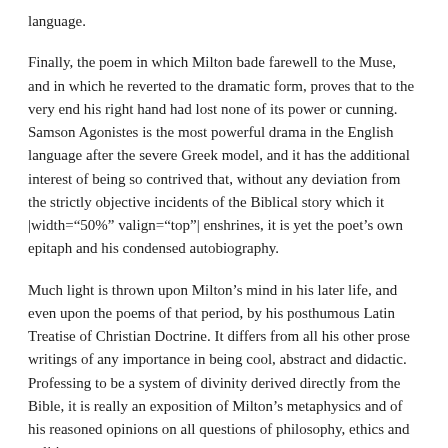language.
Finally, the poem in which Milton bade farewell to the Muse, and in which he reverted to the dramatic form, proves that to the very end his right hand had lost none of its power or cunning. Samson Agonistes is the most powerful drama in the English language after the severe Greek model, and it has the additional interest of being so contrived that, without any deviation from the strictly objective incidents of the Biblical story which it |width="50%" valign="top"| enshrines, it is yet the poet's own epitaph and his condensed autobiography.
Much light is thrown upon Milton’s mind in his later life, and even upon the poems of that period, by his posthumous Latin Treatise of Christian Doctrine. It differs from all his other prose writings of any importance in being cool, abstract and didactic. Professing to be a system of divinity derived directly from the Bible, it is really an exposition of Milton’s metaphysics and of his reasoned opinions on all questions of philosophy, ethics and politics.